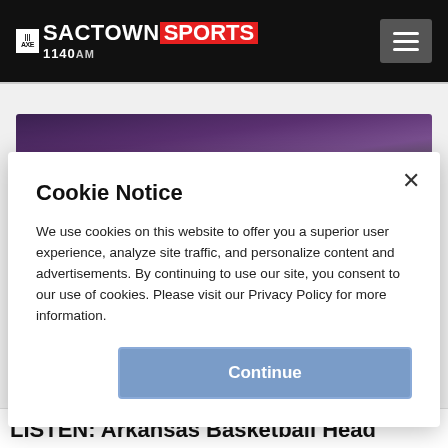SACTOWN SPORTS 1140AM
[Figure (photo): Dark purple/maroon background with partial view of a basketball or sports-related image]
Cookie Notice

We use cookies on this website to offer you a superior user experience, analyze site traffic, and personalize content and advertisements. By continuing to use our site, you consent to our use of cookies. Please visit our Privacy Policy for more information.

Continue
LISTEN: Arkansas Basketball Head